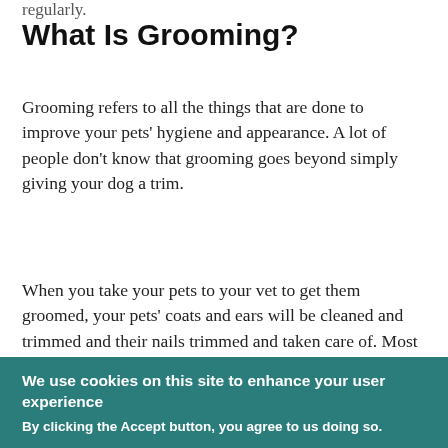regularly.
What Is Grooming?
Grooming refers to all the things that are done to improve your pets' hygiene and appearance. A lot of people don't know that grooming goes beyond simply giving your dog a trim.
When you take your pets to your vet to get them groomed, your pets' coats and ears will be cleaned and trimmed and their nails trimmed and taken care of. Most vets or groomers will offer a few different packages which include different services
We use cookies on this site to enhance your user experience
By clicking the Accept button, you agree to us doing so.